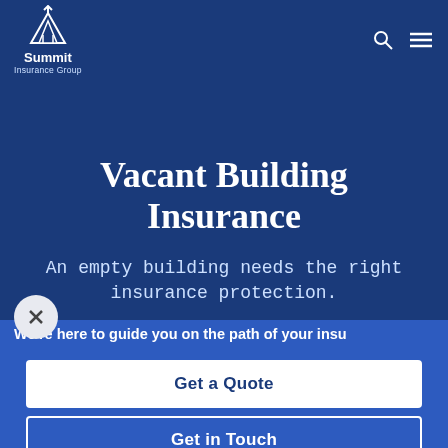[Figure (logo): Summit Insurance Group logo — mountain/arrow icon with text 'Summit Insurance Group' in white on dark blue background]
Vacant Building Insurance
An empty building needs the right insurance protection.
We're here to guide you on the path of your insu
Get a Quote
Get in Touch